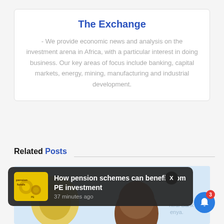The Exchange
- We provide economic news and analysis on the investment arena in Africa, with a particular interest in doing business. Our key areas of focus include banking, capital markets, energy, mining, manufacturing and industrial development.
Related Posts
[Figure (photo): Background image of a person with Central Bank of Kenya text visible]
[Figure (photo): Notification toast thumbnail showing pension funds graphic]
How pension schemes can benefit from PE investment
37 minutes ago